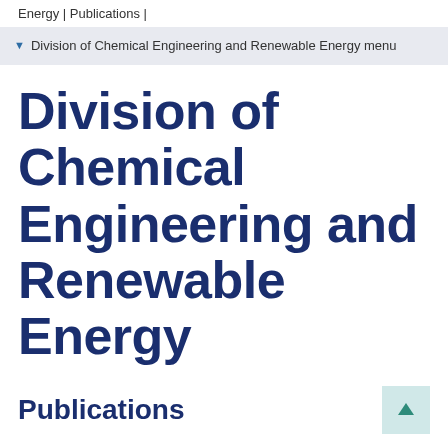Energy | Publications |
Division of Chemical Engineering and Renewable Energy menu
Division of Chemical Engineering and Renewable Energy
Publications